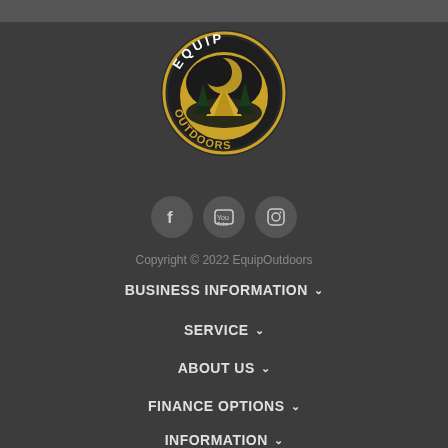[Figure (logo): Equip Outdoors circular logo with golden tent, trees and moon scene, white text EQUIP on top arc and golden OUTDOORS on bottom arc]
[Figure (infographic): Three social media icon buttons (Facebook, YouTube, Instagram) on dark circular backgrounds]
Copyright © 2022 EquipOutdoors
BUSINESS INFORMATION
SERVICE
ABOUT US
FINANCE OPTIONS
INFORMATION